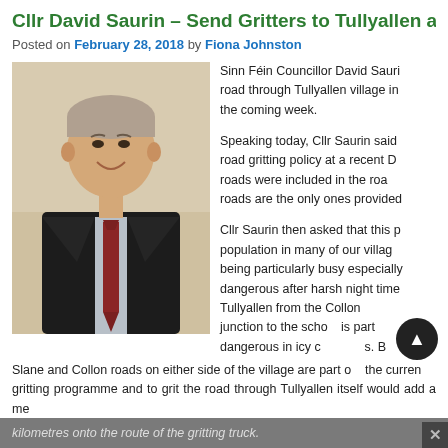Cllr David Saurin – Send Gritters to Tullyallen a…
Posted on February 28, 2018 by Fiona Johnston
[Figure (photo): Photo of Cllr David Saurin, a man in a dark suit with a red tie, smiling against a beige wall.]
Sinn Féin Councillor David Saurin has called for the road through Tullyallen village in the coming week.

Speaking today, Cllr Saurin said road gritting policy at a recent D… roads were included in the roa… roads are the only ones provided…

Cllr Saurin then asked that this p… population in many of our villag… being particularly busy especially… dangerous after harsh night time… Tullyallen from the Collon… junction to the school is part… dangerous in icy c…s. B… Slane and Collon roads on either side of the village are part of the curren… gritting programme and to grit the road through Tullyallen itself would add a me…
kilometres onto the route of the gritting truck.